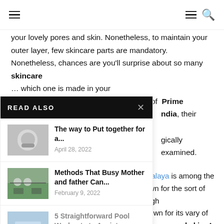Navigation bar with hamburger menu icons and search icon
your lovely pores and skin. Nonetheless, to maintain your outer layer, few skincare parts are mandatory. Nonetheless, chances are you'll surprise about so many skincare … which one is made in your … t here is the listing of Prime … ndia, their merchandise are … gically examined.
READ ALSO
The way to Put together for a... April 28, 2022
Methods That Busy Mother and father Can... February 9, 2022
5 Straightforward Pool Workouts to Assist Seniors... August 8, 2022
malaya is among the … own for the sort of high … nown for its vary of … e pores and skin. As well … ality girls's lotions to … eem as a component is one … rchandise. Girls extremely